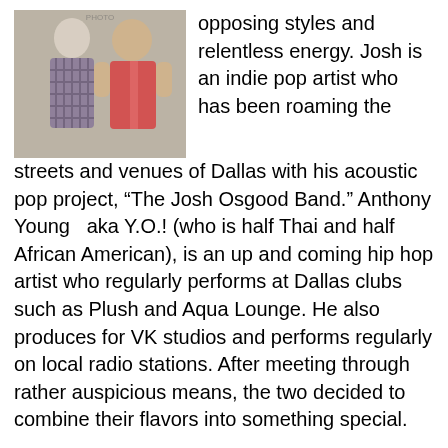[Figure (photo): Two men standing together. One wearing a plaid shirt, the other in a red sleeveless shirt.]
opposing styles and relentless energy. Josh is an indie pop artist who has been roaming the streets and venues of Dallas with his acoustic pop project, “The Josh Osgood Band.” Anthony Young  aka Y.O.! (who is half Thai and half African American), is an up and coming hip hop artist who regularly performs at Dallas clubs such as Plush and Aqua Lounge. He also produces for VK studios and performs regularly on local radio stations. After meeting through rather auspicious means, the two decided to combine their flavors into something special.
“J.O and YO! are always down to